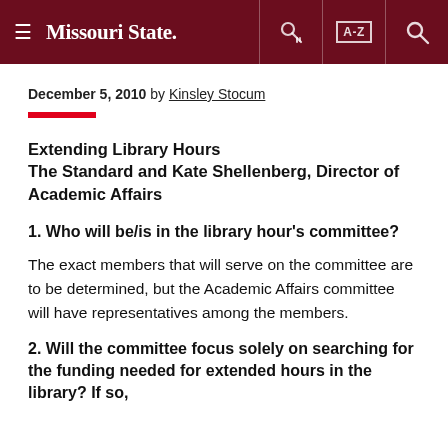Missouri State — navigation header with hamburger menu, key icon, A-Z index, and search icon
December 5, 2010 by Kinsley Stocum
Extending Library Hours
The Standard and Kate Shellenberg, Director of Academic Affairs
1. Who will be/is in the library hour's committee?
The exact members that will serve on the committee are to be determined, but the Academic Affairs committee will have representatives among the members.
2. Will the committee focus solely on searching for the funding needed for extended hours in the library? If so,